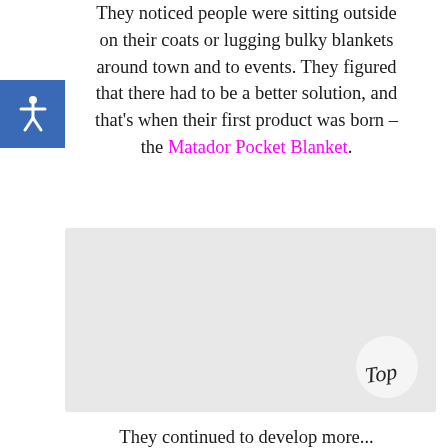They noticed people were sitting outside on their coats or lugging bulky blankets around town and to events. They figured that there had to be a better solution, and that's when their first product was born – the Matador Pocket Blanket.
[Figure (other): A light gray rectangular image placeholder, likely a product photo of the Matador Pocket Blanket. A circular 'Top' button/badge is visible in the bottom-right corner of the image.]
They continued to develop more...